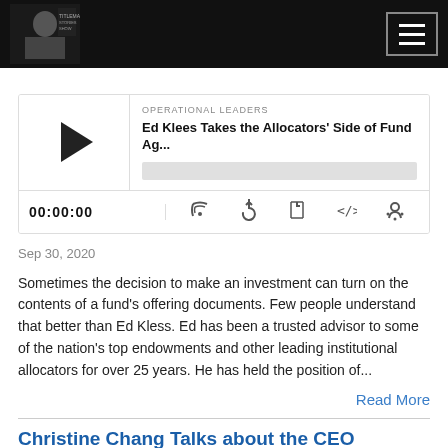[Figure (screenshot): Website header with dark/black background, logo on left (man in suit silhouette), and hamburger menu button on right]
[Figure (screenshot): Podcast player widget showing OPERATIONAL LEADERS category, episode title 'Ed Klees Takes the Allocators' Side of Fund Ag...', play button, progress bar, timestamp 00:00:00, and media control icons]
Sep 30, 2020
Sometimes the decision to make an investment can turn on the contents of a fund's offering documents.  Few people understand that better than Ed Kless.  Ed has been a trusted advisor to some of the nation's top endowments and other leading institutional allocators for over 25 years.  He has held the position of...
Read More
Christine Chang Talks about the CEO